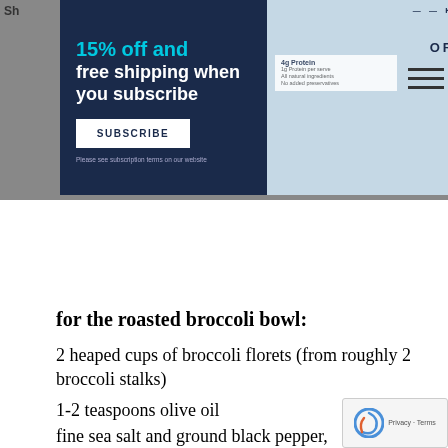[Figure (photo): Advertisement banner for a kitchen/food product offering 15% off and free shipping when you subscribe, with a Subscribe button and product imagery on a dark navy background]
for the roasted broccoli bowl:
2 heaped cups of broccoli florets (from roughly 2 broccoli stalks)
1-2 teaspoons olive oil
fine sea salt and ground black pepper, to taste
2 portions of cooked brown/black/red rice, kept warm